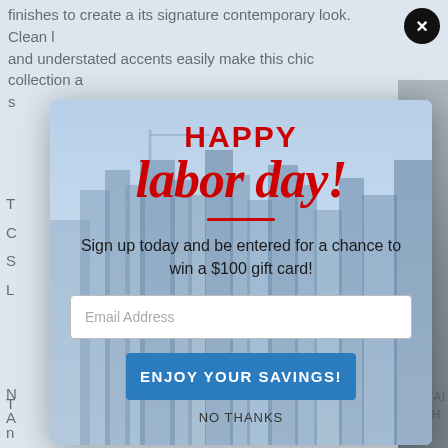finishes to create a its signature contemporary look. Clean l... and understated accents easily make this chic collection a s
[Figure (screenshot): A popup modal overlay on a webpage showing a Labor Day promotional offer. The modal has a city skyline background, red 'HAPPY labor day!' text, a subtext inviting users to sign up for a $100 gift card giveaway, an email address input field, an 'ENJOY YOUR SAVINGS!' blue button, and a 'NO THANKS' dismiss link. A black circular close button with an X is in the top right corner.]
HAPPY
labor day!
Sign up today and be entered for a chance to win a $100 gift card!
Email Address
ENJOY YOUR SAVINGS!
NO THANKS